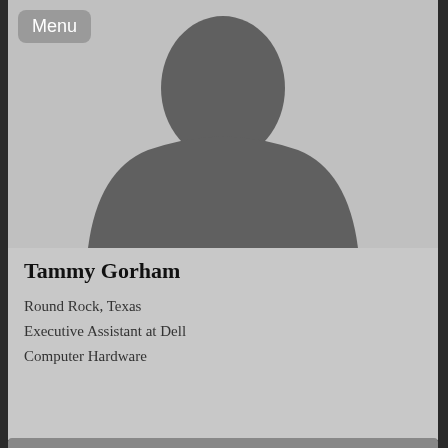[Figure (photo): Default placeholder silhouette profile photo of a person (head and shoulders), gray on gray background]
Menu
Tammy Gorham
Round Rock, Texas
Executive Assistant at Dell
Computer Hardware